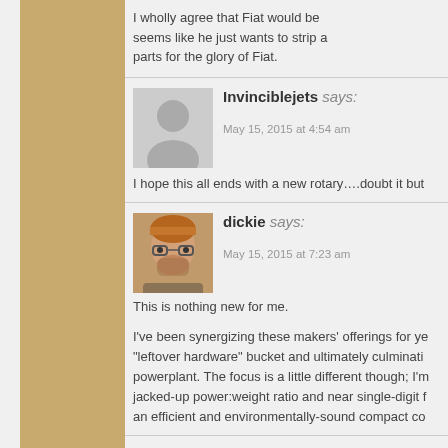I wholly agree that Fiat would be seems like he just wants to strip a parts for the glory of Fiat.
Invinciblejets says:
May 15, 2015 at 4:54 am
I hope this all ends with a new rotary….doubt it but
dickie says:
May 15, 2015 at 7:23 am
This is nothing new for me.

I've been synergizing these makers' offerings for ye "leftover hardware" bucket and ultimately culminati powerplant. The focus is a little different though; I'm jacked-up power:weight ratio and near single-digit f an efficient and environmentally-sound compact co
Randy says: